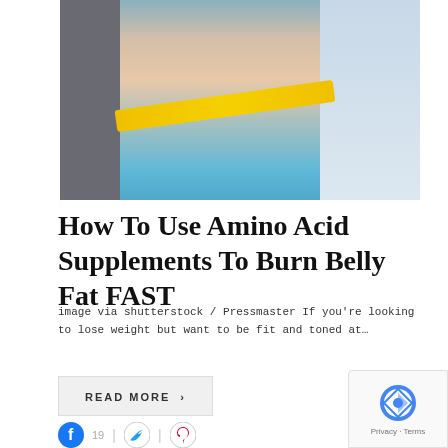[Figure (photo): Woman in grey sports bra and blue shorts measuring her waist with a yellow measuring tape against a light background]
How To Use Amino Acid Supplements To Burn Belly Fat FAST
image via shutterstock / Pressmaster If you're looking to lose weight but want to be fit and toned at…
READ MORE >
19